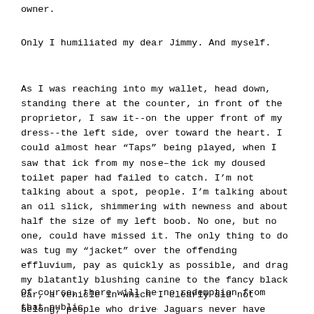owner.
Only I humiliated my dear Jimmy. And myself.
As I was reaching into my wallet, head down, standing there at the counter, in front of the proprietor, I saw it--on the upper front of my dress--the left side, over toward the heart. I could almost hear "Taps" being played, when I saw that ick from my nose--the ick my doused toilet paper had failed to catch. I'm not talking about a spot, people. I'm talking about an oil slick, shimmering with newness and about half the size of my left boob. No one, but no one, could have missed it. The only thing to do was tug my "jacket" over the offending effluvium, pay as quickly as possible, and drag my blatantly blushing canine to the fancy black car, a vehicle in which I clearly did not belong; people who drive Jaguars never have snot. And they don't go to the bathroom, either.
Of course, there will be no redemption from that public